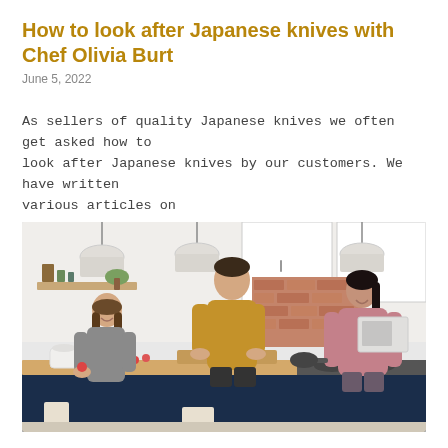How to look after Japanese knives with Chef Olivia Burt
June 5, 2022
As sellers of quality Japanese knives we often get asked how to look after Japanese knives by our customers. We have written various articles on
[Figure (photo): A family cooking scene in a modern kitchen. A man in a mustard sweater chops red vegetables on a wooden cutting board at a kitchen island. A young girl in grey sits at the island eating a tomato. A woman in a mauve sweater stands at the stovetop cooking. The kitchen features white upper cabinets, navy blue lower cabinets, exposed brick, and pendant lights.]